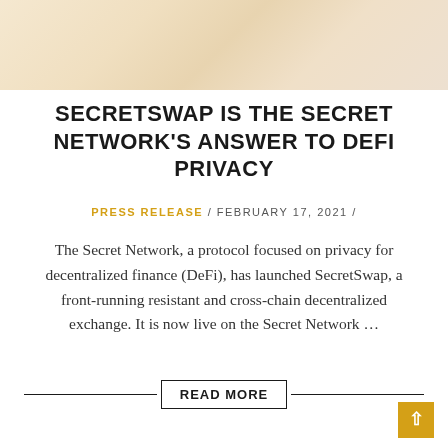[Figure (photo): Hero banner image with warm beige/cream tones, partially visible figures in background]
SECRETSWAP IS THE SECRET NETWORK'S ANSWER TO DEFI PRIVACY
PRESS RELEASE / FEBRUARY 17, 2021 /
The Secret Network, a protocol focused on privacy for decentralized finance (DeFi), has launched SecretSwap, a front-running resistant and cross-chain decentralized exchange. It is now live on the Secret Network ...
READ MORE